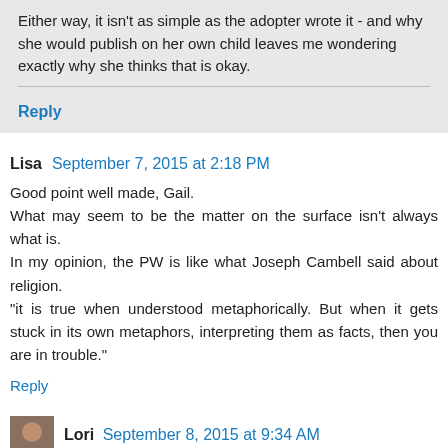Either way, it isn't as simple as the adopter wrote it - and why she would publish on her own child leaves me wondering exactly why she thinks that is okay.
Reply
Lisa  September 7, 2015 at 2:18 PM
Good point well made, Gail.
What may seem to be the matter on the surface isn't always what is.
In my opinion, the PW is like what Joseph Cambell said about religion.
"it is true when understood metaphorically. But when it gets stuck in its own metaphors, interpreting them as facts, then you are in trouble."
Reply
Lori  September 8, 2015 at 9:34 AM